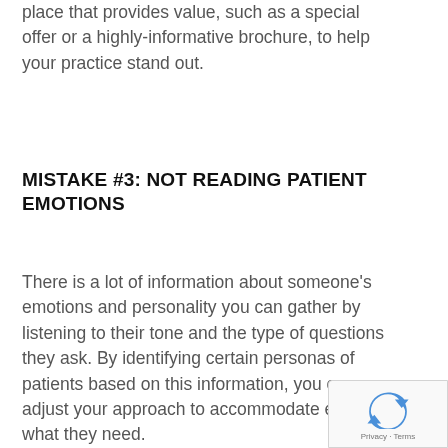place that provides value, such as a special offer or a highly-informative brochure, to help your practice stand out.
MISTAKE #3: NOT READING PATIENT EMOTIONS
There is a lot of information about someone's emotions and personality you can gather by listening to their tone and the type of questions they ask. By identifying certain personas of patients based on this information, you can adjust your approach to accommodate exactly what they need.